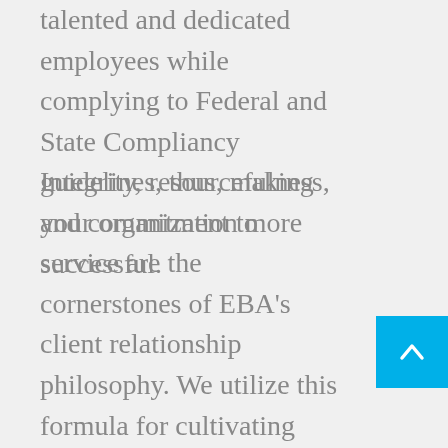talented and dedicated employees while complying to Federal and State Compliancy guidelines, thus, making your organization more successful.
Integrity, resourcefulness, and commitment to service are the cornerstones of EBA's client relationship philosophy. We utilize this formula for cultivating proactive and long-term professional client relationships that establish trust in our ability to help your employees and their families better understand, appreciate, and navigate their employer-provided coverages,